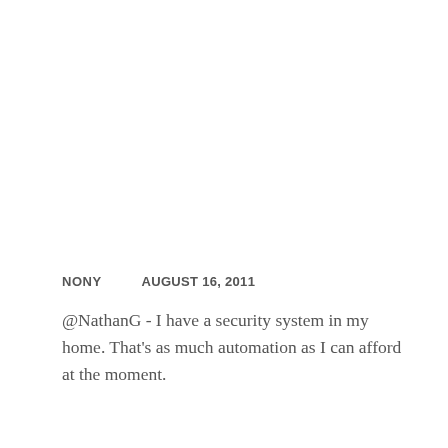NONY    AUGUST 16, 2011
@NathanG - I have a security system in my home. That's as much automation as I can afford at the moment.